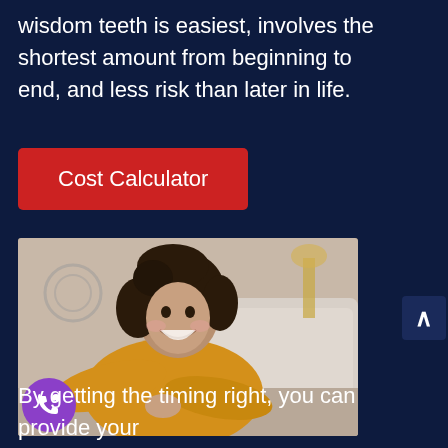wisdom teeth is easiest, involves the shortest amount from beginning to end, and less risk than later in life.
Cost Calculator
[Figure (photo): A smiling young woman with curly dark hair wearing a yellow/mustard top, lying on a light-colored sofa, looking happy and relaxed.]
By getting the timing right, you can provide your